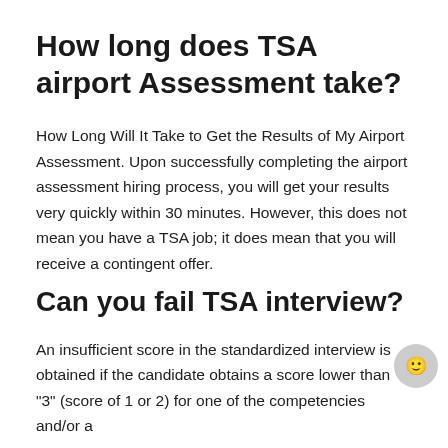How long does TSA airport Assessment take?
How Long Will It Take to Get the Results of My Airport Assessment. Upon successfully completing the airport assessment hiring process, you will get your results very quickly within 30 minutes. However, this does not mean you have a TSA job; it does mean that you will receive a contingent offer.
Can you fail TSA interview?
An insufficient score in the standardized interview is obtained if the candidate obtains a score lower than "3" (score of 1 or 2) for one of the competencies and/or a